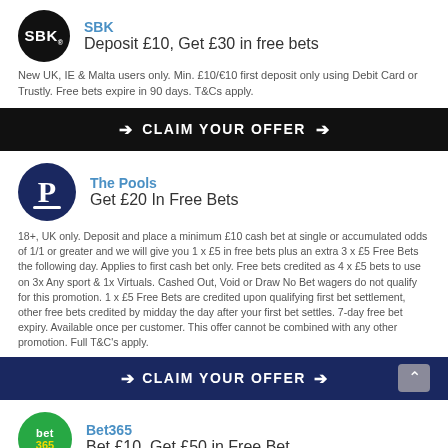[Figure (logo): SBK logo: black circle with white bold text SBK.]
SBK
Deposit £10, Get £30 in free bets
New UK, IE & Malta users only. Min. £10/€10 first deposit only using Debit Card or Trustly. Free bets expire in 90 days. T&Cs apply.
⊙ CLAIM YOUR OFFER ⊙
[Figure (logo): The Pools logo: dark navy circle with white P and white underline bar.]
The Pools
Get £20 In Free Bets
18+, UK only. Deposit and place a minimum £10 cash bet at single or accumulated odds of 1/1 or greater and we will give you 1 x £5 in free bets plus an extra 3 x £5 Free Bets the following day. Applies to first cash bet only. Free bets credited as 4 x £5 bets to use on 3x Any sport & 1x Virtuals. Cashed Out, Void or Draw No Bet wagers do not qualify for this promotion. 1 x £5 Free Bets are credited upon qualifying first bet settlement, other free bets credited by midday the day after your first bet settles. 7-day free bet expiry. Available once per customer. This offer cannot be combined with any other promotion. Full T&C's apply.
⊙ CLAIM YOUR OFFER ⊙
[Figure (logo): Bet365 logo: green circle with white text bet on top and yellow 365 on bottom.]
Bet365
Bet £10, Get £50 in Free Bet